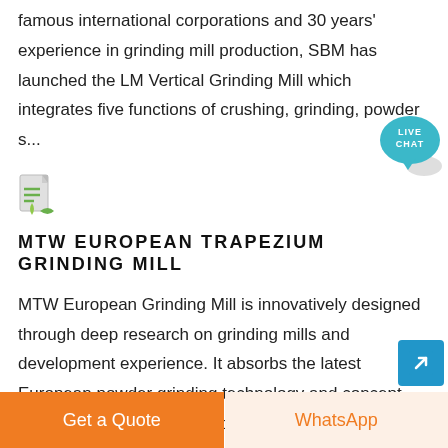famous international corporations and 30 years' experience in grinding mill production, SBM has launched the LM Vertical Grinding Mill which integrates five functions of crushing, grinding, powder s...
[Figure (illustration): Small document/file icon with green and grey elements]
MTW EUROPEAN TRAPEZIUM GRINDING MILL
MTW European Grinding Mill is innovatively designed through deep research on grinding mills and development experience. It absorbs the latest European powder grinding technology and concept, and combines the suggestions of 9158 customers on grinding ...
[Figure (illustration): Live chat speech bubble icon with teal background and white text reading LIVE CHAT]
[Figure (illustration): Blue square button with white arrow icon pointing upper right]
Get a Quote
WhatsApp